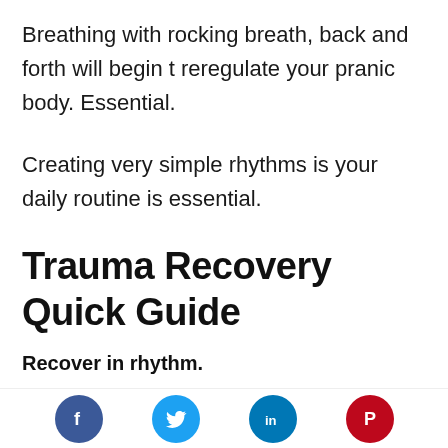Breathing with rocking breath, back and forth will begin t reregulate your pranic body. Essential.
Creating very simple rhythms is your daily routine is essential.
Trauma Recovery Quick Guide
Recover in rhythm.
When things go wrong the subtle
[Figure (infographic): Social media share icons row: Facebook (blue circle with f), Twitter (light blue circle with bird), LinkedIn (blue circle with in), Pinterest (red circle with P)]